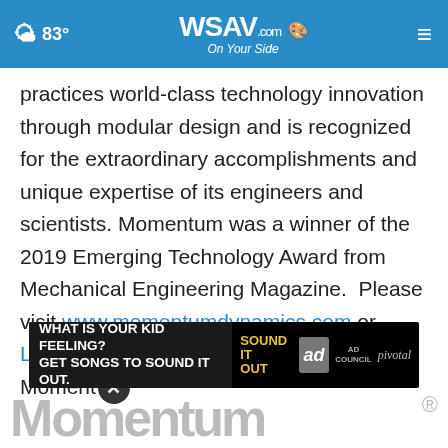83° WSAV.com On Your Side
practices world-class technology innovation through modular design and is recognized for the extraordinary accomplishments and unique expertise of its engineers and scientists. Momentum was a winner of the 2019 Emerging Technology Award from Mechanical Engineering Magazine.  Please visit www.momentumdynamics.com or LinkedIn for additional information about Momentum
[Figure (screenshot): Advertisement banner: 'WHAT IS YOUR KID FEELING? GET SONGS TO SOUND IT OUT.' with Sound It Out, Ad Council, and Pivotal logos]
[Figure (logo): Momentum Dynamics watermark logo partial text at bottom of page with registered trademark symbol]